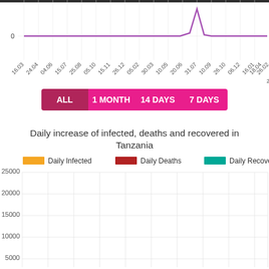[Figure (continuous-plot): Top portion of a line chart showing cumulative COVID-19 cases in Tanzania over time. The purple line stays near 0 for most of the timeline and spikes upward near 26.10. X-axis shows dates from 16.03 to 29.05.]
[Figure (bar-chart): Bar chart showing daily increase of infected (orange), deaths (dark red), and recovered (teal) in Tanzania. Y-axis goes from 0 to 25000. All bars appear near zero for the visible data range.]